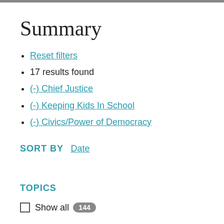Summary
Reset filters
17 results found
(-) Chief Justice
(-) Keeping Kids In School
(-) Civics/Power of Democracy
SORT BY
Date
TOPICS
Show all 144